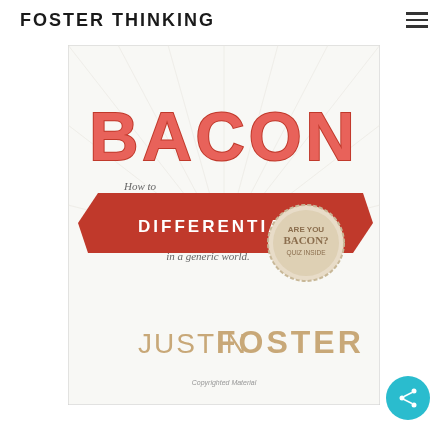FOSTER THINKING
[Figure (illustration): Book cover of 'Bacon: How to Differentiate in a Generic World' by Justin Foster. The cover is white with large pink/red 3D letters spelling BACON at the top, a red banner with white text reading 'DIFFERENTIATE', italic text 'How to' and 'in a generic world.', a circular stamp badge reading 'ARE YOU BACON? QUIZ INSIDE', and author name 'JUSTIN FOSTER' in large tan/gold letters at the bottom. Small text reads 'Copyrighted Material'.]